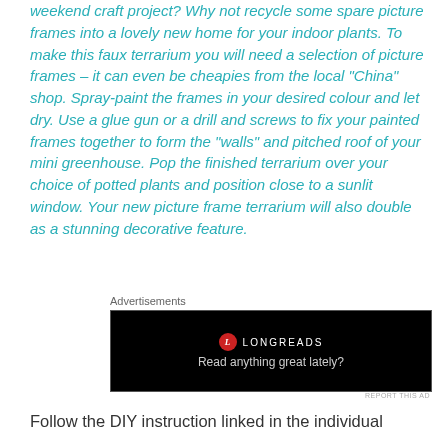weekend craft project? Why not recycle some spare picture frames into a lovely new home for your indoor plants. To make this faux terrarium you will need a selection of picture frames – it can even be cheapies from the local “China” shop. Spray-paint the frames in your desired colour and let dry. Use a glue gun or a drill and screws to fix your painted frames together to form the “walls” and pitched roof of your mini greenhouse. Pop the finished terrarium over your choice of potted plants and position close to a sunlit window. Your new picture frame terrarium will also double as a stunning decorative feature.
Advertisements
[Figure (screenshot): Longreads advertisement banner on black background with logo and tagline 'Read anything great lately?']
REPORT THIS AD
Follow the DIY instruction linked in the individual